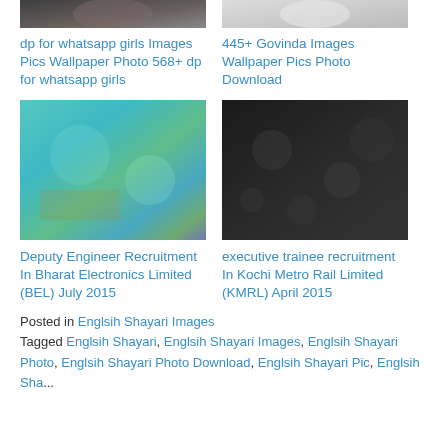[Figure (photo): Top-left: cropped photo of a man in dark clothing]
[Figure (photo): Top-right: cropped photo of a person in white clothing]
dp for whatsapp girls Images Pics Wallpaper Photo 568+ dp for whatsapp girls
445+ Govinda Images Wallpaper Pics Photo Download
[Figure (photo): Bottom-left: colorful textured surface with teal/green hues]
[Figure (photo): Bottom-right: dark textured surface, near-black]
Deputy Engineer Recruitment In Bharat Electronics Limited (BEL) July 2015
executive trainee recruitment In Kochi Metro Rail Limited (KMRL) April 2015
Posted in Englsih Shayari Images
Tagged Englsih Shayari, Englsih Shayari Images, Englsih Shayari Photo, Englsih Shayari Photo Download, Englsih Shayari Pic, Englsih Sha...